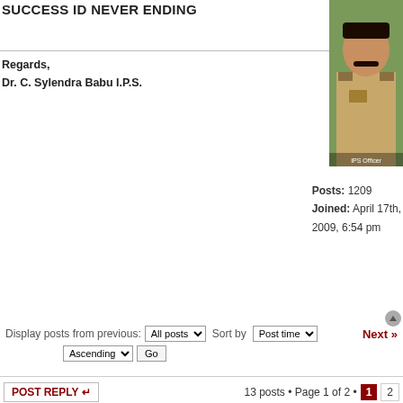SUCCESS ID NEVER ENDING
Regards,
Dr. C. Sylendra Babu I.P.S.
[Figure (photo): Portrait photo of Dr. C. Sylendra Babu I.P.S. in uniform]
Posts: 1209
Joined: April 17th, 2009, 6:54 pm
Display posts from previous: All posts ▾  Sort by  Post time ▾  Next ▶
Ascending ▾  Go
POSTREPLY ↵   13 posts • Page 1 of 2 • 1  2
‹ Return to IAS / IPS Aspirants   Jump to: IAS / IPS Aspirants ▾  Go
WHO IS ONLINE
Users browsing this forum: No registered users and 4 guests
Board index   The team • Delete all board cookies • All times are UTC + 5:30 hours
Powered by phpBB® Forum Software © phpBB Group